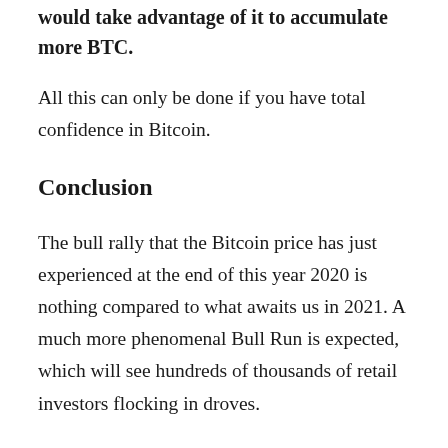would take advantage of it to accumulate more BTC.
All this can only be done if you have total confidence in Bitcoin.
Conclusion
The bull rally that the Bitcoin price has just experienced at the end of this year 2020 is nothing compared to what awaits us in 2021. A much more phenomenal Bull Run is expected, which will see hundreds of thousands of retail investors flocking in droves.
To ensure that this Bull Run does not end as badly as it did at the end of 2017, it seems essential to remind new entrants of some basic principles. The Ten Commandments of Bitcoin that I have just detailed will